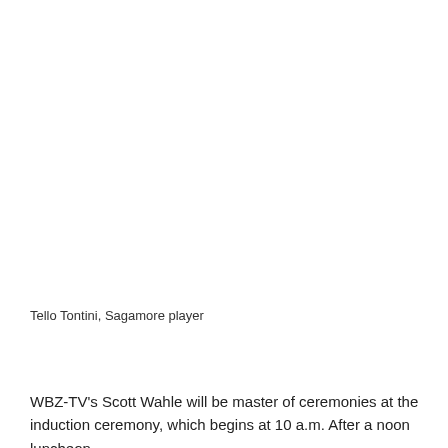Tello Tontini, Sagamore player
WBZ-TV's Scott Wahle will be master of ceremonies at the induction ceremony, which begins at 10 a.m. After a noon luncheon